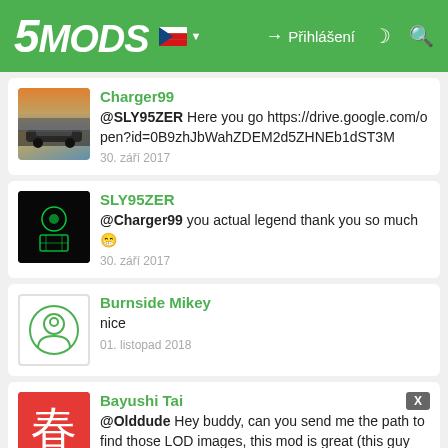5MODS — Přihlášení
Charger99
@SLY95ZER Here you go https://drive.google.com/open?id=0B9zhJbWahZDEM2d5ZHNEb1dST3M
30. září 2017
SLY95ZER
@Charger99 you actual legend thank you so much 😁
30. září 2017
Burnside Mikey
nice
01. listopad 2018
Bayushi Tai
@Olddude Hey buddy, can you send me the path to find those LOD images, this mod is great (this guy